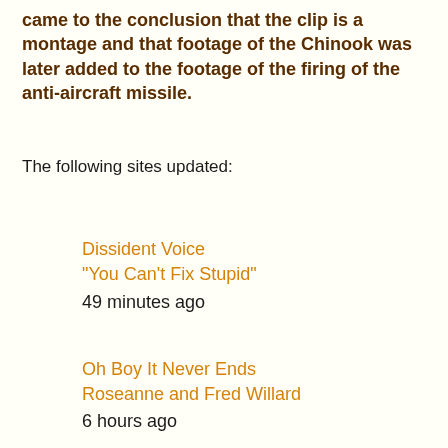came to the conclusion that the clip is a montage and that footage of the Chinook was later added to the footage of the firing of the anti-aircraft missile.
The following sites updated:
Dissident Voice
"You Can't Fix Stupid"
49 minutes ago
Oh Boy It Never Ends
Roseanne and Fred Willard
6 hours ago